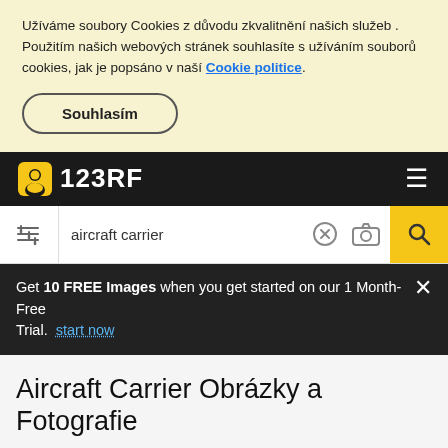Užíváme soubory Cookies z důvodu zkvalitnění našich služeb . Použitím našich webových stránek souhlasíte s užíváním souborů cookies, jak je popsáno v naší Cookie politice.
Souhlasím
[Figure (logo): 123RF logo with yellow person icon on black background navigation bar]
aircraft carrier
Get 10 FREE Images when you get started on our 1 Month-Free Trial. start now
Aircraft Carrier Obrázky a Fotografie
[Figure (photo): Partial view of an aircraft carrier image at bottom of page]